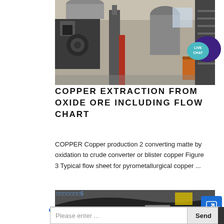[Figure (photo): Industrial machinery in a warehouse/factory setting, showing heavy equipment, pipes, and metal structures.]
COPPER EXTRACTION FROM OXIDE ORE INCLUDING FLOW CHART
COPPER Copper production 2 converting matte by oxidation to crude converter or blister copper Figure 3 Typical flow sheet for pyrometallurgical copper ...
[Figure (photo): Second industrial/manufacturing photo showing equipment, partially visible with watermark overlay text.]